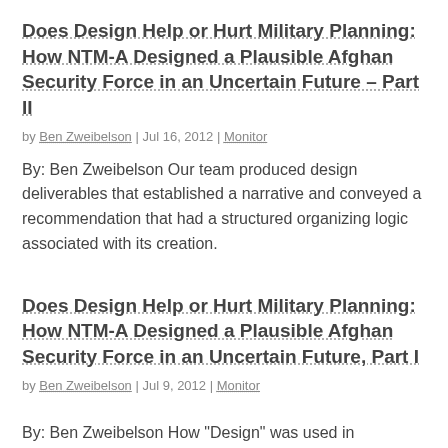Does Design Help or Hurt Military Planning: How NTM-A Designed a Plausible Afghan Security Force in an Uncertain Future – Part II
by Ben Zweibelson | Jul 16, 2012 | Monitor
By: Ben Zweibelson Our team produced design deliverables that established a narrative and conveyed a recommendation that had a structured organizing logic associated with its creation.
Does Design Help or Hurt Military Planning: How NTM-A Designed a Plausible Afghan Security Force in an Uncertain Future, Part I
by Ben Zweibelson | Jul 9, 2012 | Monitor
By: Ben Zweibelson How "Design" was used in